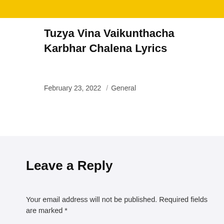[Figure (other): Yellow banner strip at the top of the page]
Tuzya Vina Vaikunthacha Karbhar Chalena Lyrics
February 23, 2022  /  General
Leave a Reply
Your email address will not be published. Required fields are marked *